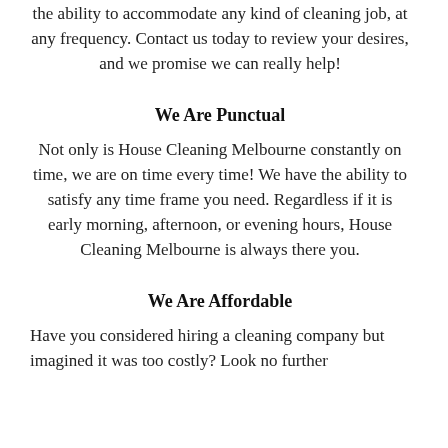the ability to accommodate any kind of cleaning job, at any frequency. Contact us today to review your desires, and we promise we can really help!
We Are Punctual
Not only is House Cleaning Melbourne constantly on time, we are on time every time! We have the ability to satisfy any time frame you need. Regardless if it is early morning, afternoon, or evening hours, House Cleaning Melbourne is always there you.
We Are Affordable
Have you considered hiring a cleaning company but imagined it was too costly? Look no further